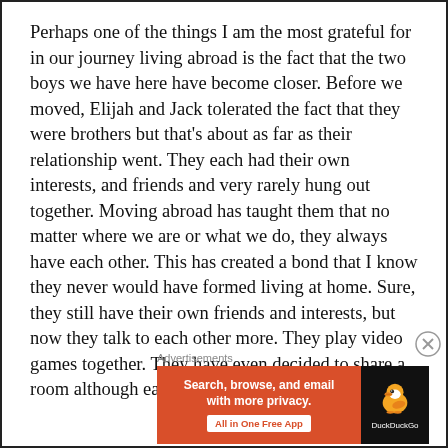Perhaps one of the things I am the most grateful for in our journey living abroad is the fact that the two boys we have here have become closer. Before we moved, Elijah and Jack tolerated the fact that they were brothers but that's about as far as their relationship went. They each had their own interests, and friends and very rarely hung out together. Moving abroad has taught them that no matter where we are or what we do, they always have each other. This has created a bond that I know they never would have formed living at home. Sure, they still have their own friends and interests, but now they talk to each other more. They play video games together. They have even decided to share a room although each one has their own. I love
Advertisements
[Figure (other): DuckDuckGo advertisement banner with orange background. Left side reads 'Search, browse, and email with more privacy.' with 'All in One Free App' button. Right side shows DuckDuckGo duck logo on dark background with 'DuckDuckGo' text.]